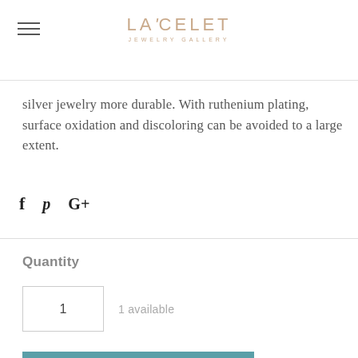LACELET JEWELRY GALLERY
silver jewelry more durable. With ruthenium plating, surface oxidation and discoloring can be avoided to a large extent.
[Figure (infographic): Social sharing icons: Facebook (f), Pinterest (p), Google+ (G+)]
Quantity
1   1 available
ADD TO CART
Available for shipping